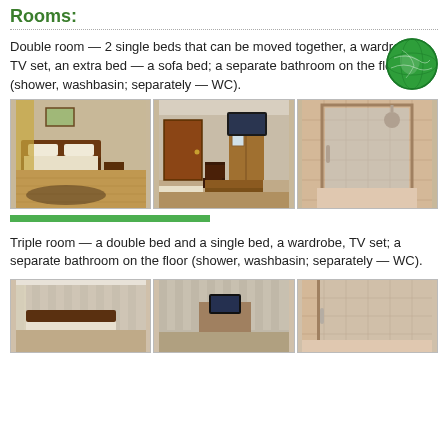Rooms:
Double room — 2 single beds that can be moved together, a wardrobe, TV set, an extra bed — a sofa bed; a separate bathroom on the floor (shower, washbasin; separately — WC).
[Figure (photo): Three photos of a double room: bed with wooden headboard, room with TV and wardrobe, shower cubicle]
Triple room — a double bed and a single bed, a wardrobe, TV set; a separate bathroom on the floor (shower, washbasin; separately — WC).
[Figure (photo): Three photos of a triple room: bedroom, room with TV, shower]